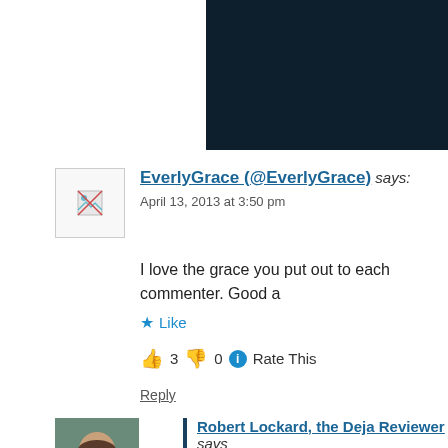[Figure (screenshot): Dark navy banner with a pink 'Start a survey' button]
EverlyGrace (@EverlyGrace) says:
April 13, 2013 at 3:50 pm
I love the grace you put out to each commenter. Good a
★ Like
👍 3 👎 0 ℹ Rate This
Reply
Robert Lockard, the Deja Reviewer says
April 16, 2013 at 12:01 am